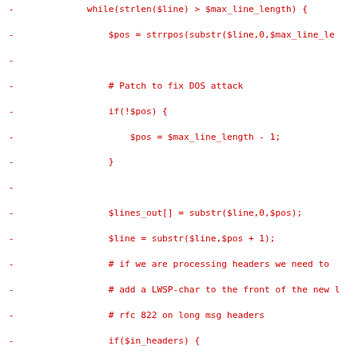[Figure (screenshot): Code diff showing PHP code for email line wrapping and SMTP sending logic, displayed in red monospace font on white background. Lines are prefixed with '-' indicating removed lines in a diff view.]